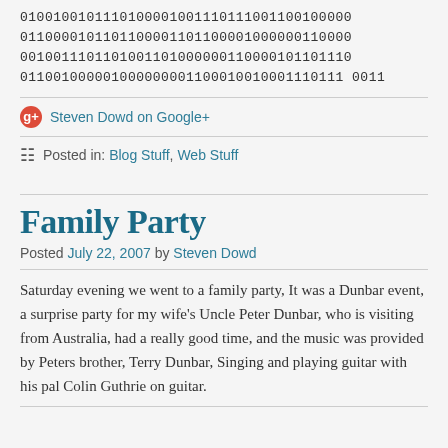0100100101110100001001110111001100100000
0110000101101100001101100001000000110000
0010011101101001101000000110000101101110
0110010000010000000011000100100011101110011
Steven Dowd on Google+
Posted in: Blog Stuff, Web Stuff
Family Party
Posted July 22, 2007 by Steven Dowd
Saturday evening we went to a family party, It was a Dunbar event, a surprise party for my wife's Uncle Peter Dunbar, who is visiting from Australia, had a really good time, and the music was provided by Peters brother, Terry Dunbar, Singing and playing guitar with his pal Colin Guthrie on guitar.